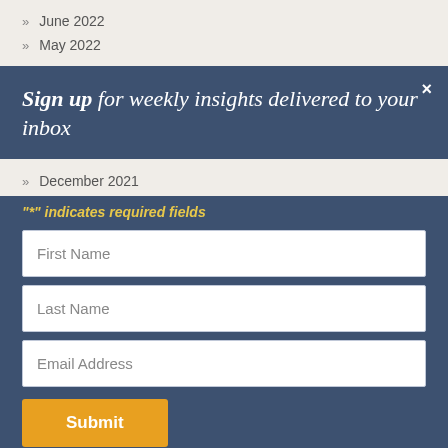» June 2022
» May 2022
Sign up for weekly insights delivered to your inbox
» December 2021
"*" indicates required fields
First Name
Last Name
Email Address
Submit